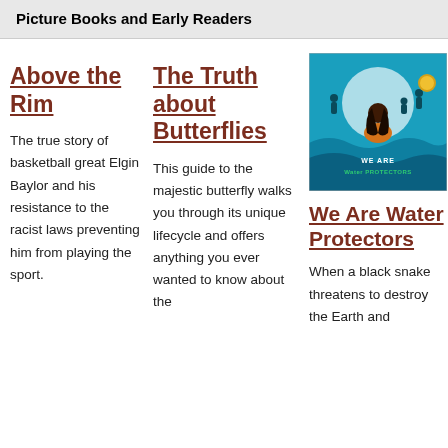Picture Books and Early Readers
Above the Rim
The true story of basketball great Elgin Baylor and his resistance to the racist laws preventing him from playing the sport.
The Truth about Butterflies
This guide to the majestic butterfly walks you through its unique lifecycle and offers anything you ever wanted to know about the
[Figure (illustration): Book cover of 'We Are Water Protectors' showing a young Indigenous girl in front of a large moon with people in the background, colorful teal and blue tones]
We Are Water Protectors
When a black snake threatens to destroy the Earth and